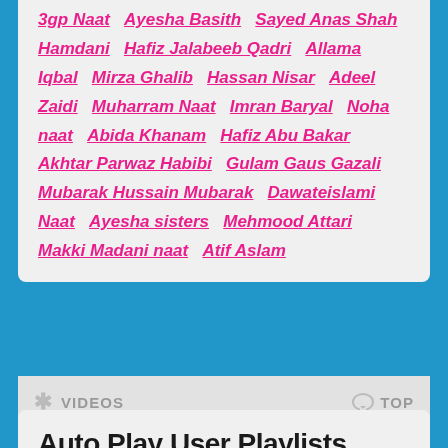3gp Naat  Ayesha Basith  Sayed Anas Shah Hamdani  Hafiz Jalabeeb Qadri  Allama Iqbal  Mirza Ghalib  Hassan Nisar  Adeel Zaidi  Muharram Naat  Imran Baryal  Noha naat  Abida Khanam  Hafiz Abu Bakar  Akhtar Parwaz Habibi  Gulam Gaus Gazali  Mubarak Hussain Mubarak  Dawateislami Naat  Ayesha sisters  Mehmood Attari  Makki Madani naat  Atif Aslam
VIDEOS
TOP
Auto Play User Playlists